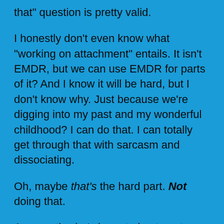that” question is pretty valid.
I honestly don’t even know what “working on attachment” entails. It isn’t EMDR, but we can use EMDR for parts of it? And I know it will be hard, but I don’t know why. Just because we’re digging into my past and my wonderful childhood? I can do that. I can totally get through that with sarcasm and dissociating.
Oh, maybe that’s the hard part. Not doing that.
Apparently she’s been trying to get me to figure this out for a while and she was happy that I finally figured it out. Hah. I mean, she could’ve